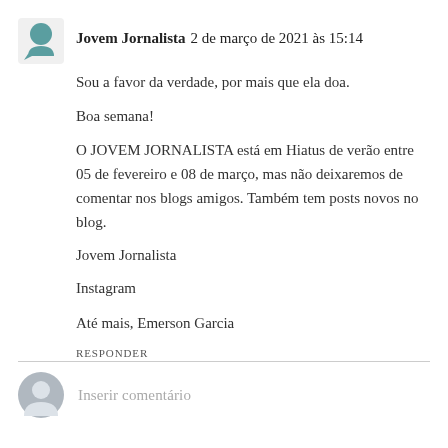Jovem Jornalista 2 de março de 2021 às 15:14
Sou a favor da verdade, por mais que ela doa.
Boa semana!
O JOVEM JORNALISTA está em Hiatus de verão entre 05 de fevereiro e 08 de março, mas não deixaremos de comentar nos blogs amigos. Também tem posts novos no blog.
Jovem Jornalista
Instagram
Até mais, Emerson Garcia
RESPONDER
Inserir comentário